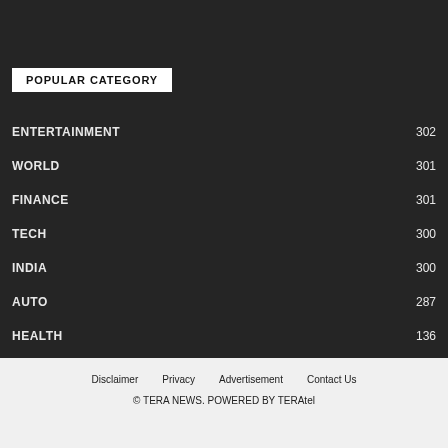POPULAR CATEGORY
ENTERTAINMENT 302
WORLD 301
FINANCE 301
TECH 300
INDIA 300
AUTO 287
HEALTH 136
Disclaimer   Privacy   Advertisement   Contact Us
© TERA NEWS. POWERED BY TERAtel